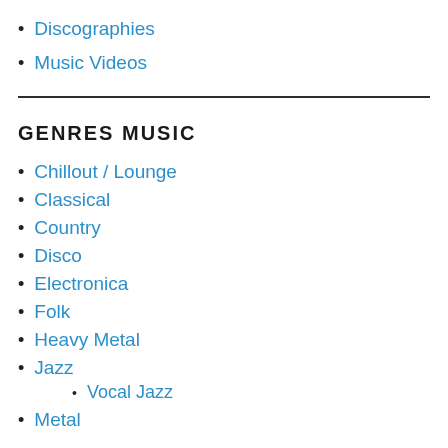Discographies
Music Videos
GENRES MUSIC
Chillout / Lounge
Classical
Country
Disco
Electronica
Folk
Heavy Metal
Jazz
Vocal Jazz
Metal